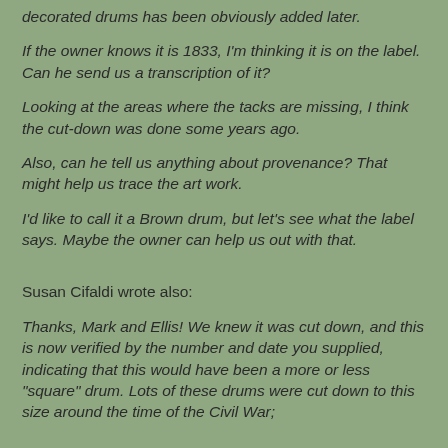decorated drums has been obviously added later.
If the owner knows it is 1833, I'm thinking it is on the label. Can he send us a transcription of it?
Looking at the areas where the tacks are missing, I think the cut-down was done some years ago.
Also, can he tell us anything about provenance? That might help us trace the art work.
I'd like to call it a Brown drum, but let's see what the label says. Maybe the owner can help us out with that.
Susan Cifaldi wrote also:
Thanks, Mark and Ellis! We knew it was cut down, and this is now verified by the number and date you supplied, indicating that this would have been a more or less "square" drum. Lots of these drums were cut down to this size around the time of the Civil War;